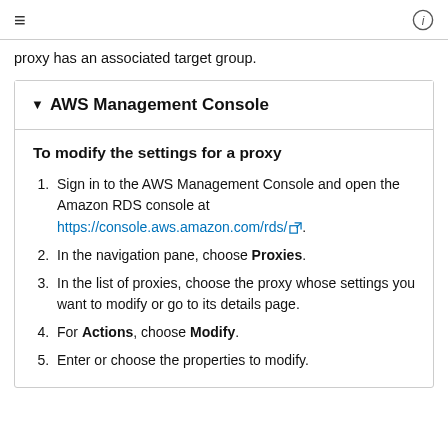≡  ⓘ
proxy has an associated target group.
▼ AWS Management Console
To modify the settings for a proxy
Sign in to the AWS Management Console and open the Amazon RDS console at https://console.aws.amazon.com/rds/ .
In the navigation pane, choose Proxies.
In the list of proxies, choose the proxy whose settings you want to modify or go to its details page.
For Actions, choose Modify.
Enter or choose the properties to modify.